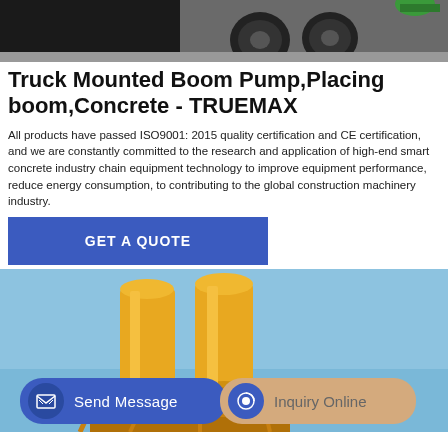[Figure (photo): Top partial image of truck mounted boom pump machinery, showing dark vehicle body and large tires/wheels on a factory floor]
Truck Mounted Boom Pump,Placing boom,Concrete - TRUEMAX
All products have passed ISO9001: 2015 quality certification and CE certification, and we are constantly committed to the research and application of high-end smart concrete industry chain equipment technology to improve equipment performance, reduce energy consumption, to contributing to the global construction machinery industry.
GET A QUOTE
[Figure (photo): Industrial concrete batching plant with two yellow silos against a blue sky, yellow steel framework and equipment visible]
Send Message
Inquiry Online